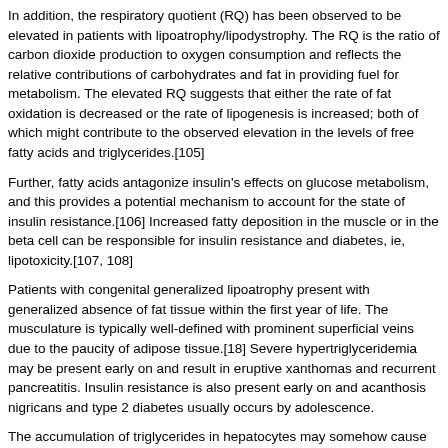In addition, the respiratory quotient (RQ) has been observed to be elevated in patients with lipoatrophy/lipodystrophy. The RQ is the ratio of carbon dioxide production to oxygen consumption and reflects the relative contributions of carbohydrates and fat in providing fuel for metabolism. The elevated RQ suggests that either the rate of fat oxidation is decreased or the rate of lipogenesis is increased; both of which might contribute to the observed elevation in the levels of free fatty acids and triglycerides.[105]
Further, fatty acids antagonize insulin's effects on glucose metabolism, and this provides a potential mechanism to account for the state of insulin resistance.[106] Increased fatty deposition in the muscle or in the beta cell can be responsible for insulin resistance and diabetes, ie, lipotoxicity.[107, 108]
Patients with congenital generalized lipoatrophy present with generalized absence of fat tissue within the first year of life. The musculature is typically well-defined with prominent superficial veins due to the paucity of adipose tissue.[18] Severe hypertriglyceridemia may be present early on and result in eruptive xanthomas and recurrent pancreatitis. Insulin resistance is also present early on and acanthosis nigricans and type 2 diabetes usually occurs by adolescence.
The accumulation of triglycerides in hepatocytes may somehow cause the injury associated with nonalcoholic steatohepatitis (NASH).[109] NASH is observed in approximately one third of patients with lipoatrophy and may progress to end-stage liver failure with childhood death from bleeding esophageal varices. The insulin resistance leads to hyperinsulinemia, and clinical features of hyperinsulinemia (eg, acanthosis nigricans, hyperandrogenism in female patients) are common.